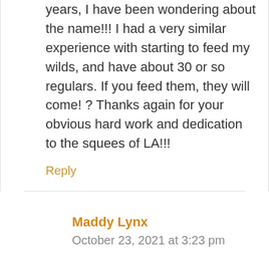years, I have been wondering about the name!!! I had a very similar experience with starting to feed my wilds, and have about 30 or so regulars. If you feed them, they will come! ? Thanks again for your obvious hard work and dedication to the squees of LA!!!
Reply
Maddy Lynx
October 23, 2021 at 3:23 pm